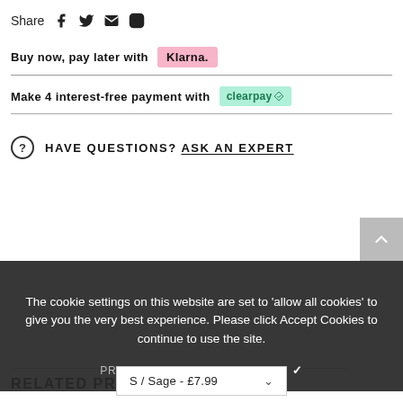Share
Buy now, pay later with Klarna.
Make 4 interest-free payment with clearpay
HAVE QUESTIONS? ASK AN EXPERT
RELATED PRODUCTS
The cookie settings on this website are set to 'allow all cookies' to give you the very best experience. Please click Accept Cookies to continue to use the site.
PRIVACY POLICY   ACCEPT ✓
S / Sage - £7.99